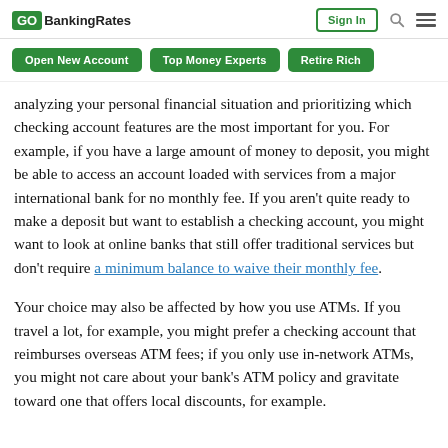GOBankingRates | Sign In
Open New Account | Top Money Experts | Retire Rich
analyzing your personal financial situation and prioritizing which checking account features are the most important for you. For example, if you have a large amount of money to deposit, you might be able to access an account loaded with services from a major international bank for no monthly fee. If you aren't quite ready to make a deposit but want to establish a checking account, you might want to look at online banks that still offer traditional services but don't require a minimum balance to waive their monthly fee.
Your choice may also be affected by how you use ATMs. If you travel a lot, for example, you might prefer a checking account that reimburses overseas ATM fees; if you only use in-network ATMs, you might not care about your bank's ATM policy and gravitate toward one that offers local discounts, for example.